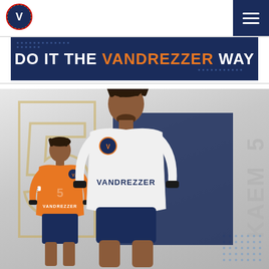[Figure (logo): Vandrezzer FC club logo - circular badge with a 'V' motif]
[Figure (other): Hamburger menu icon on dark navy background]
DO IT THE VANDREZZER WAY
[Figure (photo): Two football players wearing Vandrezzer FC jerseys - one in white kit (main, foreground), one in orange kit (background). Large number 5 watermark and player name visible. Vandrezzer branding on jerseys.]